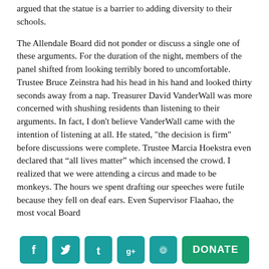argued that the statue is a barrier to adding diversity to their schools.
The Allendale Board did not ponder or discuss a single one of these arguments. For the duration of the night, members of the panel shifted from looking terribly bored to uncomfortable. Trustee Bruce Zeinstra had his head in his hand and looked thirty seconds away from a nap. Treasurer David VanderWall was more concerned with shushing residents than listening to their arguments. In fact, I don't believe VanderWall came with the intention of listening at all. He stated, "the decision is firm" before discussions were complete. Trustee Marcia Hoekstra even declared that “all lives matter” which incensed the crowd. I realized that we were attending a circus and made to be monkeys. The hours we spent drafting our speeches were futile because they fell on deaf ears. Even Supervisor Flaahao, the most vocal Board
[Figure (infographic): Social media share buttons: Facebook (teal), Twitter (teal), Tumblr (teal), Google+ (teal), Reddit (teal), and a green DONATE button]